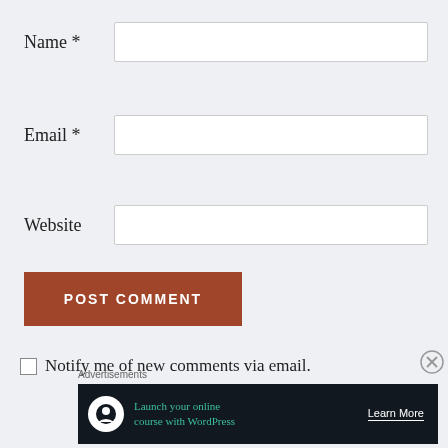Name *
Email *
Website
POST COMMENT
Notify me of new comments via email.
Advertisements
[Figure (other): Advertisement banner: Launch your online course with WordPress — Learn More]